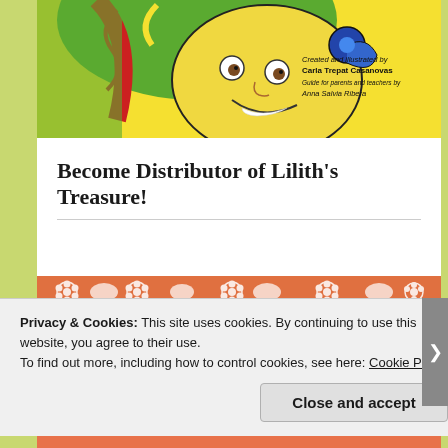[Figure (illustration): Book cover illustration showing a cartoon girl with colorful swirly hair (green, red, yellow) lying down smiling, with a blue snail on her hair. Text on cover reads: 'Created and illustrated by Carla Trepat Casanovas. Guide for parents and teachers by Anna Salvia Ribera.']
Become Distributor of Lilith's Treasure!
[Figure (illustration): Orange decorative banner with white flower and circular pattern designs]
Privacy & Cookies: This site uses cookies. By continuing to use this website, you agree to their use.
To find out more, including how to control cookies, see here: Cookie Policy
Close and accept